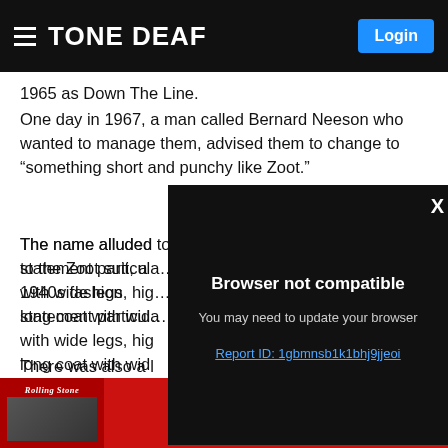TONE DEAF
1965 as Down The Line.
One day in 1967, a man called Bernard Neeson who wanted to manage them, advised them to change to “something short and punchy like Zoot.”
The name alluded to the Zoot suit, a 1940s fashion statement particula… with wide legs, hig… long coat with wid…
[Figure (screenshot): Browser not compatible modal overlay on dark background with message: 'Browser not compatible. You may need to update your browser. Report ID: 1gbmnsb1k1bhj9jjeoi' with X close button]
There was also a … who meant nothin… would know about… the woods.
[Figure (logo): Rolling Stone magazine advertisement banner with red background showing RollingStone logo in white italic text]